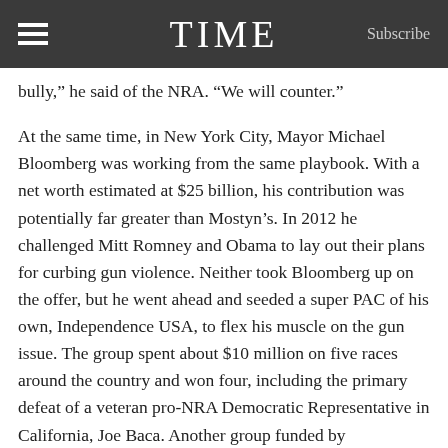TIME  Subscribe
bully,” he said of the NRA. “We will counter.”
At the same time, in New York City, Mayor Michael Bloomberg was working from the same playbook. With a net worth estimated at $25 billion, his contribution was potentially far greater than Mostyn’s. In 2012 he challenged Mitt Romney and Obama to lay out their plans for curbing gun violence. Neither took Bloomberg up on the offer, but he went ahead and seeded a super PAC of his own, Independence USA, to flex his muscle on the gun issue. The group spent about $10 million on five races around the country and won four, including the primary defeat of a veteran pro-NRA Democratic Representative in California, Joe Baca. Another group funded by Bloomberg, Mayors Against Illegal Guns, began an advertising campaign called Demand a Plan, with spots running in communities that had been affected by gun violence.